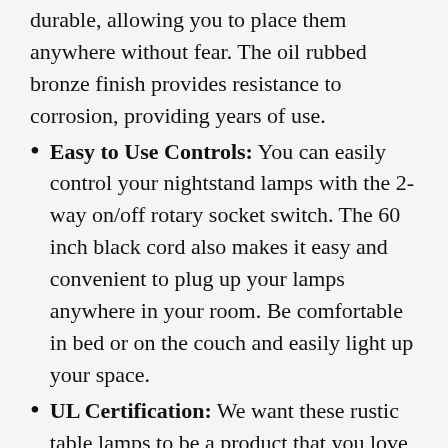durable, allowing you to place them anywhere without fear. The oil rubbed bronze finish provides resistance to corrosion, providing years of use.
Easy to Use Controls: You can easily control your nightstand lamps with the 2-way on/off rotary socket switch. The 60 inch black cord also makes it easy and convenient to plug up your lamps anywhere in your room. Be comfortable in bed or on the couch and easily light up your space.
UL Certification: We want these rustic table lamps to be a product that you love and are able to use for years. This pair of vintage table lamps is sure to meet your highest expectations with their quality and their safety. Each table lamp uses one E26 type A light bulb (150 watt max). They have UL Certification for